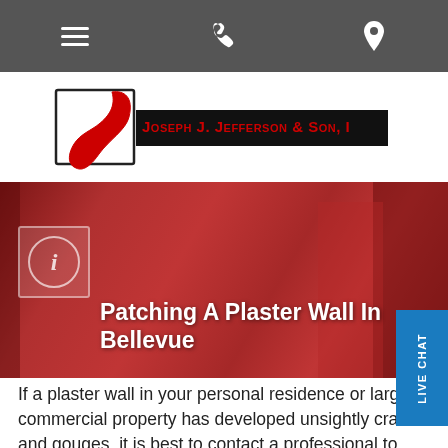Navigation bar with menu, phone, and location icons
[Figure (logo): Joseph J. Jefferson & Son, Inc. company logo with stylized J and company name in red on black banner]
[Figure (photo): Hero image showing red walls/doors background with title 'Patching A Plaster Wall In Bellevue' in white bold text]
If a plaster wall in your personal residence or large commercial property has developed unsightly cracks and gouges, it is best to contact a professional to make the repair and ensure that the original seamless surface is retained. Joseph J. Jefferson & Son, Inc. has knowledgeable experts in patching a plaster wall in Bellevue. We have been in the plaster business in the Western Washington area since 1924 and have an extensive list of satisfied customers